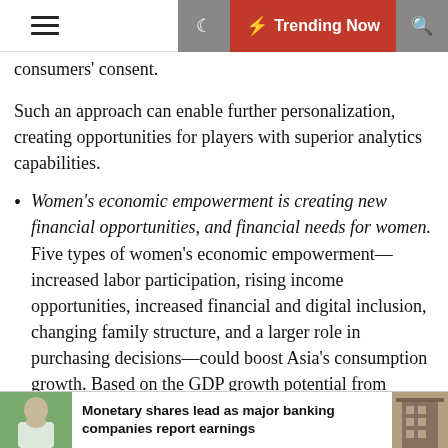☰  ☾  ⚡ Trending Now  🔍
consumers' consent.
Such an approach can enable further personalization, creating opportunities for players with superior analytics capabilities.
Women's economic empowerment is creating new financial opportunities, and financial needs for women. Five types of women's economic empowerment—increased labor participation, rising income opportunities, increased financial and digital inclusion, changing family structure, and a larger role in purchasing decisions—could boost Asia's consumption growth. Based on the GDP growth potential from narrowing gender gaps estimated in previous MGI research, women's empowerment could add 30 percent to Asia's consumption growth
Monetary shares lead as major banking companies report earnings